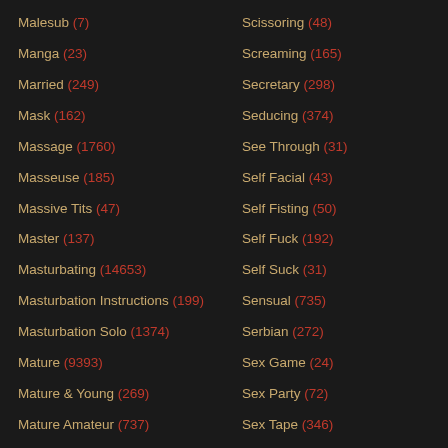Malesub (7)
Manga (23)
Married (249)
Mask (162)
Massage (1760)
Masseuse (185)
Massive Tits (47)
Master (137)
Masturbating (14653)
Masturbation Instructions (199)
Masturbation Solo (1374)
Mature (9393)
Mature & Young (269)
Mature Amateur (737)
Mature Anal (332)
Mature BBW (393)
Scissoring (48)
Screaming (165)
Secretary (298)
Seducing (374)
See Through (31)
Self Facial (43)
Self Fisting (50)
Self Fuck (192)
Self Suck (31)
Sensual (735)
Serbian (272)
Sex Game (24)
Sex Party (72)
Sex Tape (346)
Sex Toy (5315)
Shares Wife (628)